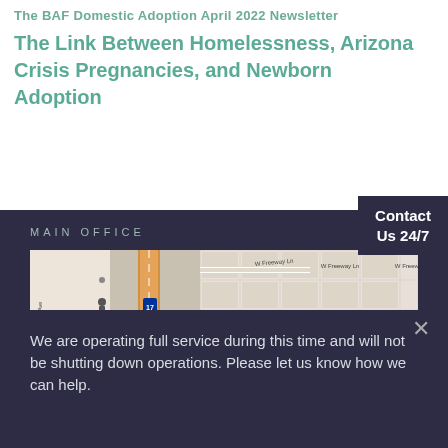The BAF Domestic Adoption April 2022 Newsletter
The Link Between Homelessness, Arizona Crisis Pregnancies, and Newborn Adoption
Contact Us 24/7
Main Office
[Figure (map): Street map showing Main Office location near N 27th Ave, W Freeway Ln, W Seldon Ln, showing highway interchange area in Phoenix, Arizona]
We are operating full service during this time and will not be shutting down operations. Please let us know how we can help.